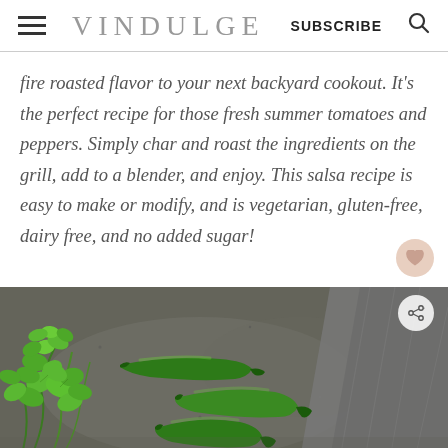VINDULGE | SUBSCRIBE
fire roasted flavor to your next backyard cookout. It's the perfect recipe for those fresh summer tomatoes and peppers. Simply char and roast the ingredients on the grill, add to a blender, and enjoy. This salsa recipe is easy to make or modify, and is vegetarian, gluten-free, dairy free, and no added sugar!
[Figure (photo): Overhead view of fresh cilantro and green jalapeño peppers on a speckled grey surface with a grey cloth napkin in the upper right corner.]